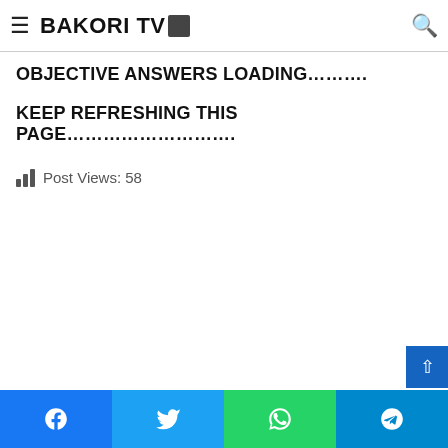ANSWERS 100% LEAKED IN OUR VIP GROUP
BAKORI TV [logo]
OBJECTIVE ANSWERS LOADING………..
KEEP REFRESHING THIS PAGE………………………..
Post Views: 58
Facebook | Twitter | WhatsApp | Telegram